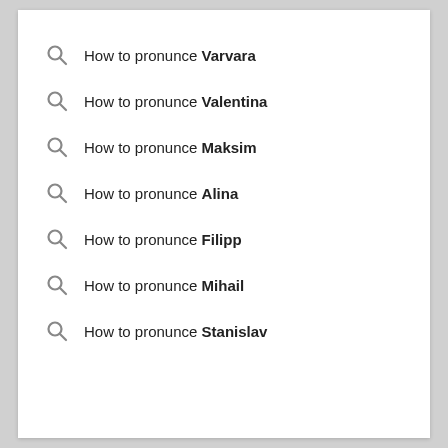How to pronunce Varvara
How to pronunce Valentina
How to pronunce Maksim
How to pronunce Alina
How to pronunce Filipp
How to pronunce Mihail
How to pronunce Stanislav